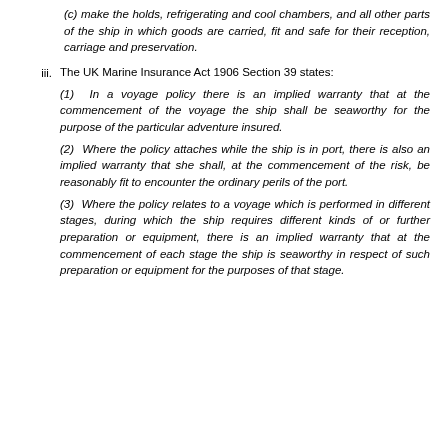(c) make the holds, refrigerating and cool chambers, and all other parts of the ship in which goods are carried, fit and safe for their reception, carriage and preservation.
iii. The UK Marine Insurance Act 1906 Section 39 states: (1) In a voyage policy there is an implied warranty that at the commencement of the voyage the ship shall be seaworthy for the purpose of the particular adventure insured. (2) Where the policy attaches while the ship is in port, there is also an implied warranty that she shall, at the commencement of the risk, be reasonably fit to encounter the ordinary perils of the port. (3) Where the policy relates to a voyage which is performed in different stages, during which the ship requires different kinds of or further preparation or equipment, there is an implied warranty that at the commencement of each stage the ship is seaworthy in respect of such preparation or equipment for the purposes of that stage.